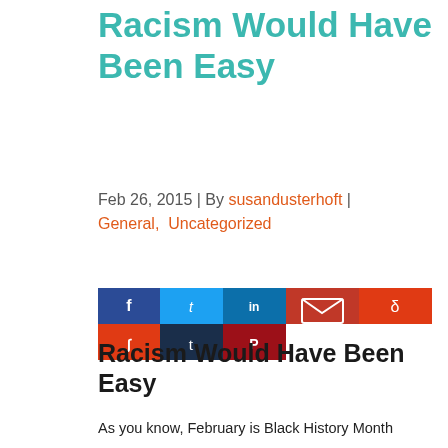Racism Would Have Been Easy
Feb 26, 2015 | By susandusterhoft | General, Uncategorized
[Figure (other): Social media share buttons grid: Facebook (dark blue), Twitter (light blue), LinkedIn (blue), Email (red-orange), Reddit (orange-red) on top row; StumbleUpon (orange-red), Tumblr (dark navy), Pinterest (dark red) on bottom row]
Racism Would Have Been Easy
As you know, February is Black History Month